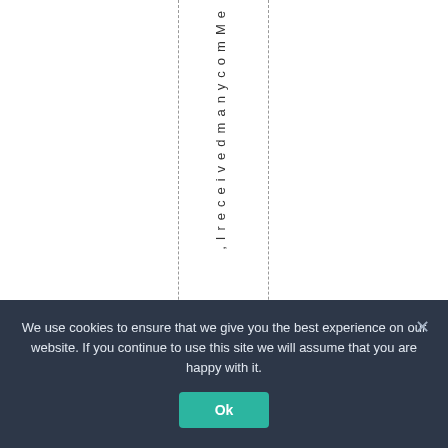,IreceivedmanycomMe
We use cookies to ensure that we give you the best experience on our website. If you continue to use this site we will assume that you are happy with it.
Ok